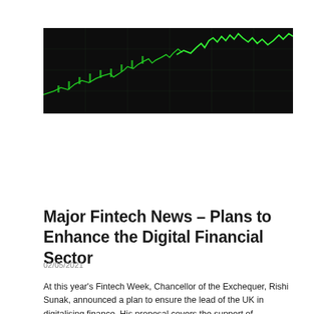[Figure (photo): Dark background with bright green stock market chart lines, resembling a financial trading screen at night]
Major Fintech News – Plans to Enhance the Digital Financial Sector
02/05/2021
At this year's Fintech Week, Chancellor of the Exchequer, Rishi Sunak, announced a plan to ensure the lead of the UK in digitalising finance. His proposal covers the support of